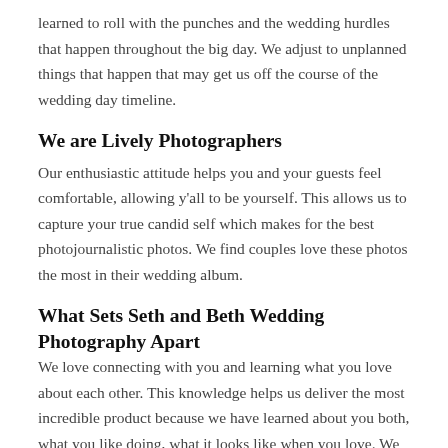learned to roll with the punches and the wedding hurdles that happen throughout the big day. We adjust to unplanned things that happen that may get us off the course of the wedding day timeline.
We are Lively Photographers
Our enthusiastic attitude helps you and your guests feel comfortable, allowing y'all to be yourself. This allows us to capture your true candid self which makes for the best photojournalistic photos. We find couples love these photos the most in their wedding album.
What Sets Seth and Beth Wedding Photography Apart
We love connecting with you and learning what you love about each other. This knowledge helps us deliver the most incredible product because we have learned about you both, what you like doing, what it looks like when you love. We then can create the best photos for your wedding album that you will love for the rest of